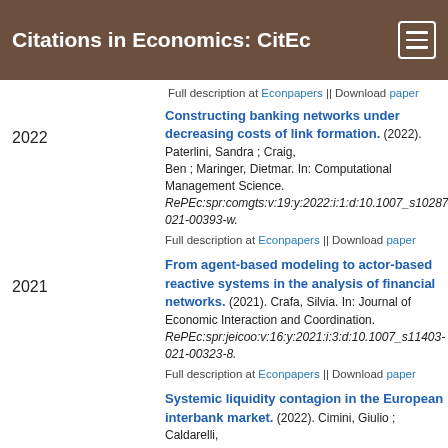Citations in Economics: CitEc
Full description at Econpapers || Download paper
Constructing banking networks under decreasing costs of link formation. (2022). Paterlini, Sandra ; Craig, Ben ; Maringer, Dietmar. In: Computational Management Science. RePEc:spr:comgts:v:19:y:2022:i:1:d:10.1007_s10287-021-00393-w. Full description at Econpapers || Download paper
From agent-based modeling to actor-based reactive systems in the analysis of financial networks. (2021). Crafa, Silvia. In: Journal of Economic Interaction and Coordination. RePEc:spr:jeicoo:v:16:y:2021:i:3:d:10.1007_s11403-021-00323-8. Full description at Econpapers || Download paper
Systemic liquidity contagion in the European interbank market. (2022). Cimini, Giulio ; Caldarelli,